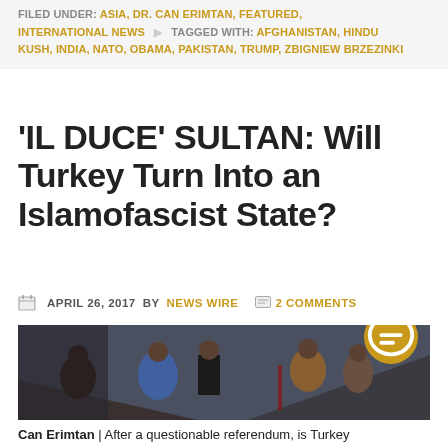FILED UNDER: ASIA, DR. CAN ERIMTAN, FEATURED, INTERNATIONAL NEWS  TAGGED WITH: AFGHANISTAN, HINDU KUSH, INDIA, NATO, OBAMA, PAKISTAN, TRUMP, ZBIGNIEW BRZEZINKI
'IL DUCE' SULTAN: Will Turkey Turn Into an Islamofascist State?
APRIL 26, 2017 BY NEWS WIRE  2 COMMENTS
[Figure (photo): A man in a suit surrounded by men in historical Ottoman warrior costumes on steps of a grand building]
Can Erimtan | After a questionable referendum, is Turkey